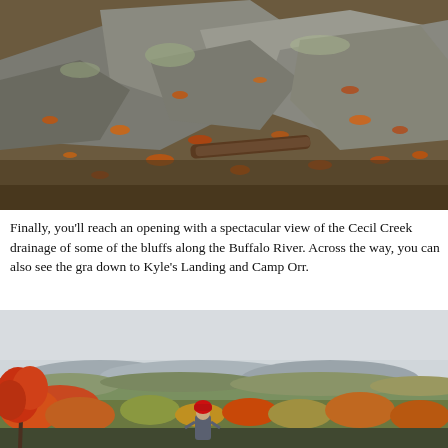[Figure (photo): Close-up photo of rocky terrain covered with fallen autumn leaves and a log, showing lichen-covered boulders.]
Finally, you'll reach an opening with a spectacular view of the Cecil Creek drainage of some of the bluffs along the Buffalo River. Across the way, you can also see the gra down to Kyle's Landing and Camp Orr.
[Figure (photo): A person wearing a red hat stands overlooking a vast autumn valley landscape with colorful foliage, mountains in the distance, and an overcast sky. An autumn tree with red leaves is visible to the left.]